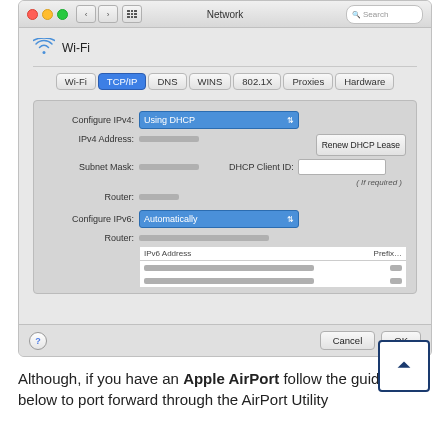[Figure (screenshot): macOS Network System Preferences pane showing Wi-Fi TCP/IP settings. Configure IPv4 is set to 'Using DHCP'. Fields shown: IPv4 Address (masked), Subnet Mask (masked), Router (masked), DHCP Client ID (empty), Renew DHCP Lease button. Configure IPv6 is set to 'Automatically'. Router field (masked IPv6 address). IPv6 Address table with Prefix columns, two blurred rows.]
Although, if you have an Apple AirPort follow the guide below to port forward through the AirPort Utility